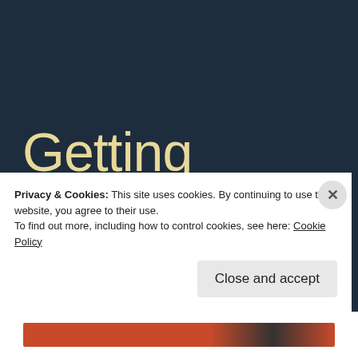Getting There
Yesterday was a better day. This roller coaster I've been on seems to be slowing down. I'm not off the ride just yet, but the
Privacy & Cookies: This site uses cookies. By continuing to use this website, you agree to their use.
To find out more, including how to control cookies, see here: Cookie Policy
Close and accept